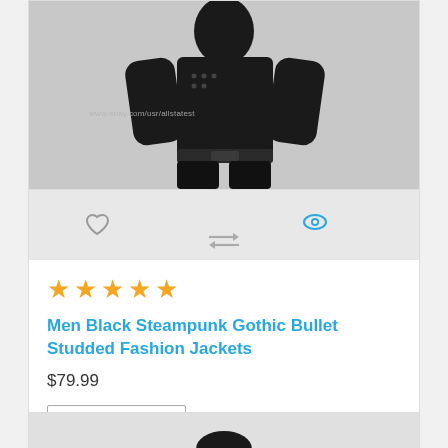[Figure (photo): Product photo of a man wearing a black steampunk gothic bullet studded fashion jacket, viewed from the side/back, on a white/grey background. Watermark text: www.ebay.com/usr/allstatest]
[Figure (infographic): Action bar with a grey heart icon (wishlist), a blue eye icon (quick view), and a grey compare/swap icon (compare)]
[Figure (infographic): Five gold star rating icons]
Men Black Steampunk Gothic Bullet Studded Fashion Jackets
$79.99
Add to Cart
[Figure (photo): Partial view of a second product card at the bottom, showing the top of a dark hat or similar item]